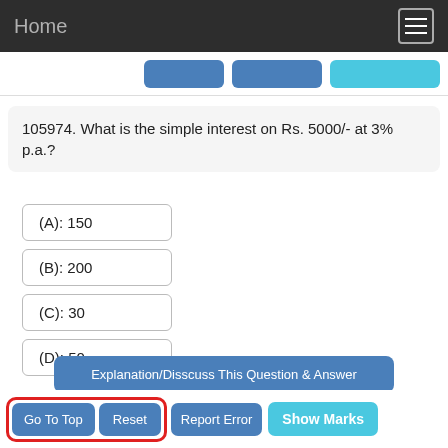Home
105974. What is the simple interest on Rs. 5000/- at 3% p.a.?
(A): 150
(B): 200
(C): 30
(D): 50
Explanation/Disscuss This Question & Answer
Go To Top
Reset
Report Error
Show Marks